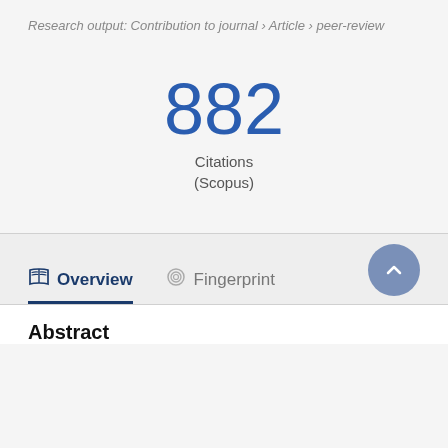Research output: Contribution to journal › Article › peer-review
882
Citations
(Scopus)
Overview   Fingerprint
Abstract